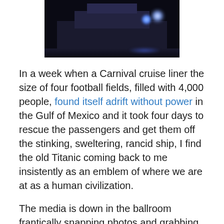[Figure (photo): Night photograph of a large cruise ship lit up, with blue lights visible and dark water reflections below]
In a week when a Carnival cruise liner the size of four football fields, filled with 4,000 people, found itself adrift without power in the Gulf of Mexico and it took four days to rescue the passengers and get them off the stinking, sweltering, rancid ship, I find the old Titanic coming back to me insistently as an emblem of where we are at as a human civilization.
The media is down in the ballroom frantically snapping photos and grabbing interviews with the rich celebrities as the inept captain and crew sail the ship straight into an iceberg.
When that crash comes, the glitter and glitz of the